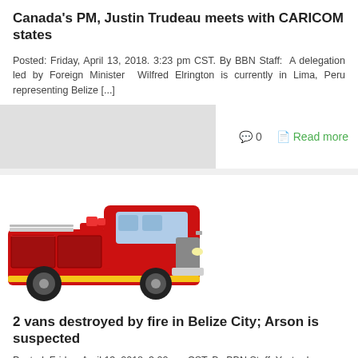Canada's PM, Justin Trudeau meets with CARICOM states
Posted: Friday, April 13, 2018. 3:23 pm CST. By BBN Staff: A delegation led by Foreign Minister Wilfred Elrington is currently in Lima, Peru representing Belize [...]
[Figure (photo): Gray/white placeholder image area for the first article]
0    Read more
[Figure (photo): Red fire truck (fire engine) on white background]
2 vans destroyed by fire in Belize City; Arson is suspected
Posted: Friday, April 13, 2018. 3:22 pm CST. By BBN Staff: Yesterday